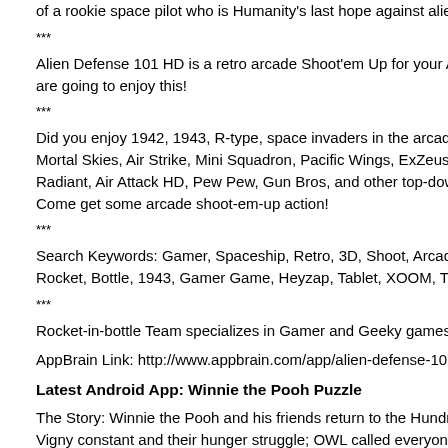of a rookie space pilot who is Humanity's last hope against aliens! Come and see
***
Alien Defense 101 HD is a retro arcade Shoot'em Up for your Android. If you enjoy are going to enjoy this!
***
Did you enjoy 1942, 1943, R-type, space invaders in the arcades, or other shoot-e Mortal Skies, Air Strike, Mini Squadron, Pacific Wings, ExZeus Arcade, Siberian S Radiant, Air Attack HD, Pew Pew, Gun Bros, and other top-down shooting arcades Come get some arcade shoot-em-up action!
***
Search Keywords: Gamer, Spaceship, Retro, 3D, Shoot, Arcade, Shooter, Shoot'e Rocket, Bottle, 1943, Gamer Game, Heyzap, Tablet, XOOM, Transformer, Galaxy
***
Rocket-in-bottle Team specializes in Gamer and Geeky games! Thank you for you
AppBrain Link: http://www.appbrain.com/app/alien-defense-101-hd/com.rocketinb
Latest Android App: Winnie the Pooh Puzzle
The Story: Winnie the Pooh and his friends return to the Hundred Acre Wood, Eey Vigny constant and their hunger struggle; OWL called everyone to save by the ima Christof Robin……
This charming Winnie the Pooh Puzzle App FEATURES:
–Multiple language options to choose from: Simplified / Traditional, English, Frenc
–A total of 100 points
–four difficulty levels